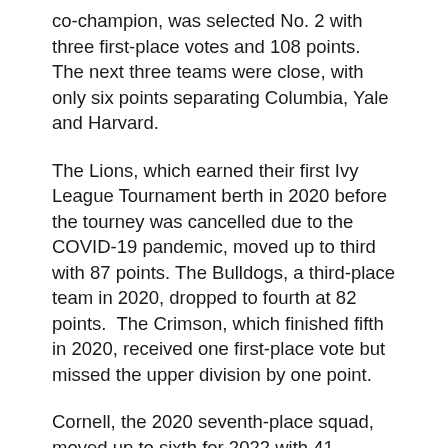co-champion, was selected No. 2 with three first-place votes and 108 points. The next three teams were close, with only six points separating Columbia, Yale and Harvard.
The Lions, which earned their first Ivy League Tournament berth in 2020 before the tourney was cancelled due to the COVID-19 pandemic, moved up to third with 87 points. The Bulldogs, a third-place team in 2020, dropped to fourth at 82 points. The Crimson, which finished fifth in 2020, received one first-place vote but missed the upper division by one point.
Cornell, the 2020 seventh-place squad, moved up to sixth for 2022 with 41 points. Dartmouth and Brown, two teams with new coaching staffs, ended up with the last two spots, with the Big Green's 29 points two